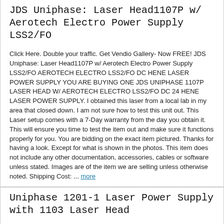JDS Uniphase: Laser Head1107P w/ Aerotech Electro Power Supply LSS2/FO
Click Here. Double your traffic. Get Vendio Gallery- Now FREE! JDS Uniphase: Laser Head1107P w/ Aerotech Electro Power Supply LSS2/FO AEROTECH ELECTRO LSS2/FO DC HENE LASER POWER SUPPLY YOU ARE BUYING ONE JDS UNIPHASE 1107P LASER HEAD W/ AEROTECH ELECTRO LSS2/FO DC 24 HENE LASER POWER SUPPLY. I obtained this laser from a local lab in my area that closed down. I am not sure how to test this unit out. This Laser setup comes with a 7-Day warranty from the day you obtain it. This will ensure you time to test the item out and make sure it functions properly for you. You are bidding on the exact item pictured. Thanks for having a look. Except for what is shown in the photos. This item does not include any other documentation, accessories, cables or software unless stated. Images are of the item we are selling unless otherwise noted. Shipping Cost: ... more
Uniphase 1201-1 Laser Power Supply with 1103 Laser Head
Uniphase 1201-1 Laser Power Supply With Uniphase 1103 Laser Head Uniphase 1201-1 Laser Power Supply with 1103 Laser Head Missing key to power on unit. Unit is not tested but in very good condition. This piece is offered as-is. As-shown. Don't hesitate to ask any questions! Thanks for looking! Powered by The free listing tool. List your items fast and easy and manage your active items.